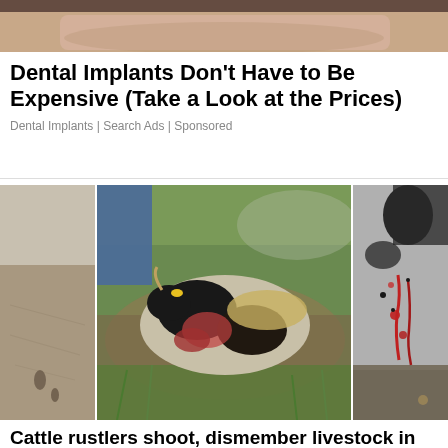[Figure (photo): Close-up photo of a person's lower face/chin area, partially cropped at top of page]
Dental Implants Don't Have to Be Expensive (Take a Look at the Prices)
Dental Implants | Search Ads | Sponsored
[Figure (photo): Three side-by-side photos of injured/dismembered cattle livestock]
Cattle rustlers shoot, dismember livestock in Orange Walk, CorozalCattle rustlers shoot,...